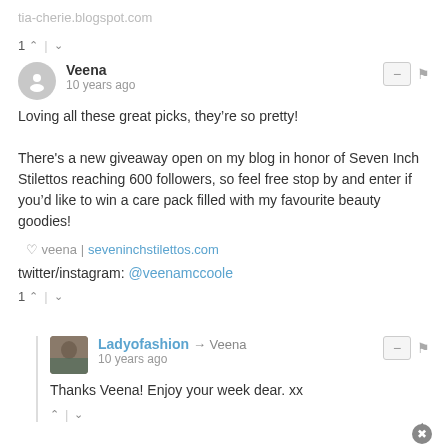tia-cherie.blogspot.com
1 ^ | v
Veena
10 years ago
Loving all these great picks, they’re so pretty!

There's a new giveaway open on my blog in honor of Seven Inch Stilettos reaching 600 followers, so feel free stop by and enter if you’d like to win a care pack filled with my favourite beauty goodies!
♡ veena | seveninchstilettos.com
twitter/instagram: @veenamccoole
1 ^ | v
Ladyofashion → Veena
10 years ago
Thanks Veena! Enjoy your week dear. xx
^ | v